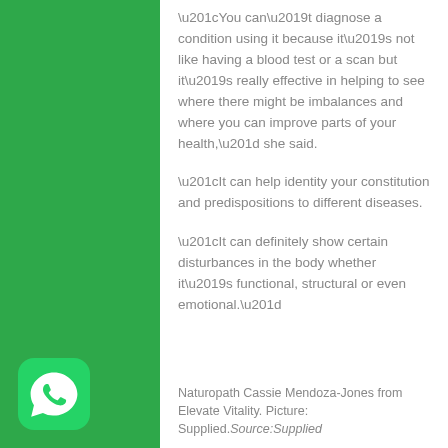“You can’t diagnose a condition using it because it’s not like having a blood test or a scan but it’s really effective in helping to see where there might be imbalances and where you can improve parts of your health,” she said.
“It can help identity your constitution and predispositions to different diseases.
“It can definitely show certain disturbances in the body whether it’s functional, structural or even emotional.”
Naturopath Cassie Mendoza-Jones from Elevate Vitality. Picture: Supplied.Source:Supplied